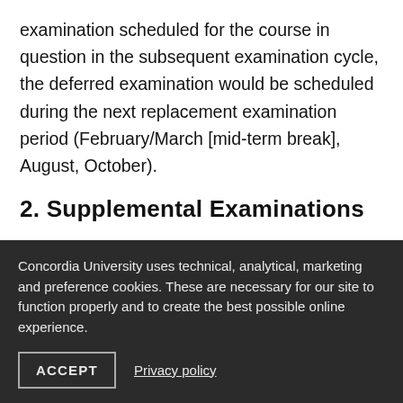examination scheduled for the course in question in the subsequent examination cycle, the deferred examination would be scheduled during the next replacement examination period (February/March [mid-term break], August, October).
2. Supplemental Examinations
a) John Molson School of Business: There are no supplemental examinations available for course...
Concordia University uses technical, analytical, marketing and preference cookies. These are necessary for our site to function properly and to create the best possible online experience.